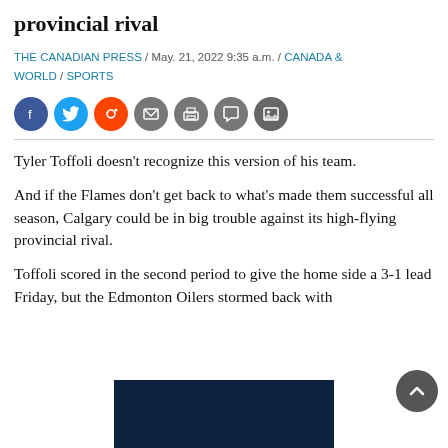provincial rival
THE CANADIAN PRESS / May. 21, 2022 9:35 a.m. / CANADA & WORLD / SPORTS
[Figure (infographic): Social media share icons: Facebook, Twitter, Reddit, Email, Print, Comment, Gallery]
Tyler Toffoli doesn’t recognize this version of his team.
And if the Flames don’t get back to what’s made them successful all season, Calgary could be in big trouble against its high-flying provincial rival.
Toffoli scored in the second period to give the home side a 3-1 lead Friday, but the Edmonton Oilers stormed back with
[Figure (photo): Dark navy blue advertisement block at bottom of page]